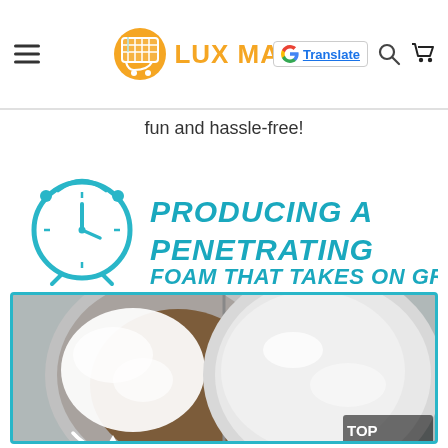LUX MARTZ — navigation header with logo, translate button, search and cart icons
fun and hassle-free!
[Figure (infographic): Teal alarm clock icon with bold teal italic text: PRODUCING A PENETRATING FOAM THAT TAKES ON GRIME]
[Figure (photo): Before-and-after comparison of two stainless steel pots. Left pot shows white foam and brown grime. Right pot shows clean shiny surface. Teal border frame around the image.]